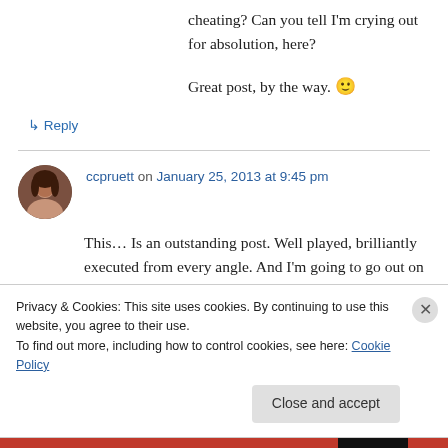cheating? Can you tell I'm crying out for absolution, here?
Great post, by the way. 🙂
↳ Reply
ccpruett on January 25, 2013 at 9:45 pm
This… Is an outstanding post. Well played, brilliantly executed from every angle. And I'm going to go out on a limb here and bet these are
Privacy & Cookies: This site uses cookies. By continuing to use this website, you agree to their use.
To find out more, including how to control cookies, see here: Cookie Policy
Close and accept